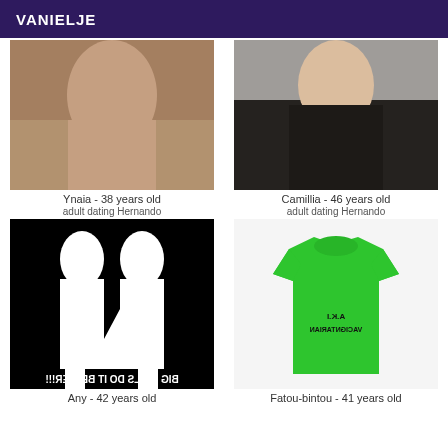VANIELJE
[Figure (photo): Woman photographed from side]
Ynaia - 38 years old
adult dating Hernando
[Figure (photo): Blonde woman in black dress sitting]
Camillia - 46 years old
adult dating Hernando
[Figure (photo): Black and white image with mirrored silhouette of woman with text BIG GIRLS DO IT BETTER!!!]
Any - 42 years old
[Figure (photo): Green t-shirt with mirrored text A.K.I VACIGNTARIAN]
Fatou-bintou - 41 years old